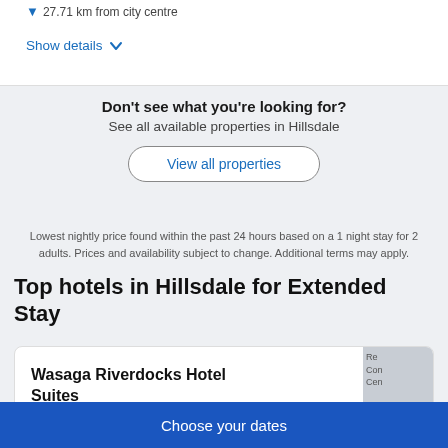27.71 km from city centre
Show details
Don't see what you're looking for?
See all available properties in Hillsdale
View all properties
Lowest nightly price found within the past 24 hours based on a 1 night stay for 2 adults. Prices and availability subject to change. Additional terms may apply.
Top hotels in Hillsdale for Extended Stay
Wasaga Riverdocks Hotel Suites
Choose your dates